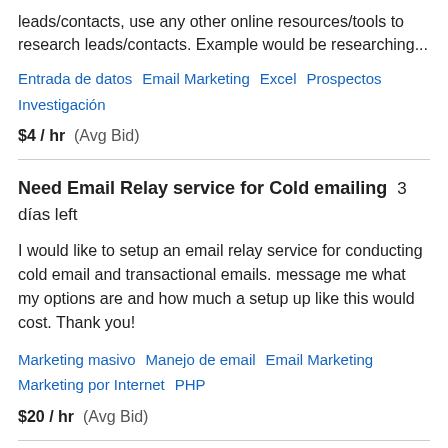leads/contacts, use any other online resources/tools to research leads/contacts. Example would be researching...
Entrada de datos   Email Marketing   Excel   Prospectos   Investigación
$4 / hr  (Avg Bid)
Need Email Relay service for Cold emailing  3 días left
I would like to setup an email relay service for conducting cold email and transactional emails. message me what my options are and how much a setup up like this would cost. Thank you!
Marketing masivo   Manejo de email   Email Marketing   Marketing por Internet   PHP
$20 / hr  (Avg Bid)